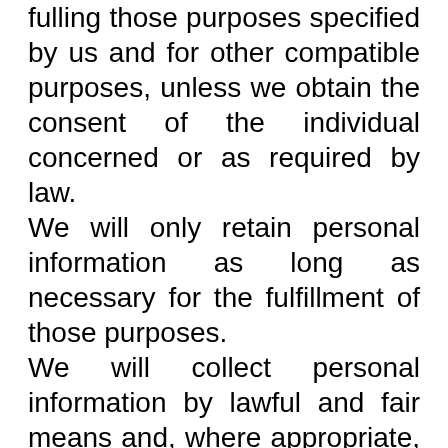fulling those purposes specified by us and for other compatible purposes, unless we obtain the consent of the individual concerned or as required by law.
We will only retain personal information as long as necessary for the fulfillment of those purposes.
We will collect personal information by lawful and fair means and, where appropriate, with the knowledge or consent of the individual concerned.
Personal data should be relevant to the purposes for which it is to be used, and, to the extent necessary for those purposes, should be accurate complete